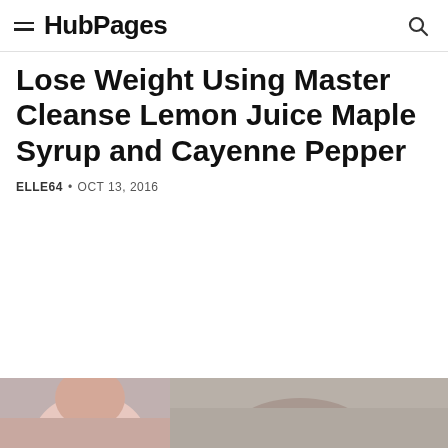HubPages
Lose Weight Using Master Cleanse Lemon Juice Maple Syrup and Cayenne Pepper
ELLE64 • OCT 13, 2016
[Figure (photo): Partial view of a person at the bottom of the page, photo cropped]